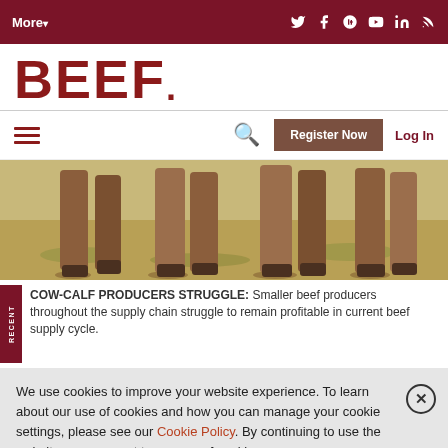More ▾ [social icons: Twitter, Facebook, Google+, YouTube, LinkedIn, RSS]
BEEF.
☰  🔍  Register Now  Log In
[Figure (photo): Close-up photo of legs/hooves of cattle standing on dry grassy ground]
COW-CALF PRODUCERS STRUGGLE: Smaller beef producers throughout the supply chain struggle to remain profitable in current beef supply cycle.
We use cookies to improve your website experience. To learn about our use of cookies and how you can manage your cookie settings, please see our Cookie Policy. By continuing to use the website, you consent to our use of cookies.